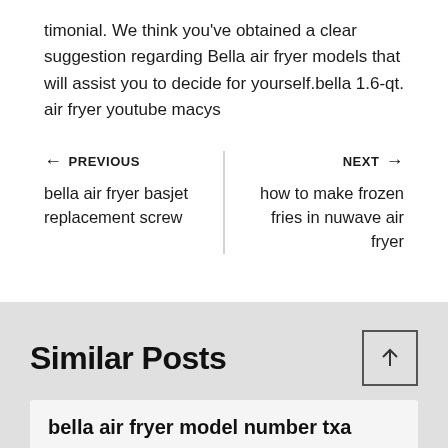timonial. We think you've obtained a clear suggestion regarding Bella air fryer models that will assist you to decide for yourself.bella 1.6-qt. air fryer youtube macys
← PREVIOUS
bella air fryer basjet replacement screw
NEXT →
how to make frozen fries in nuwave air fryer
Similar Posts
bella air fryer model number txa...